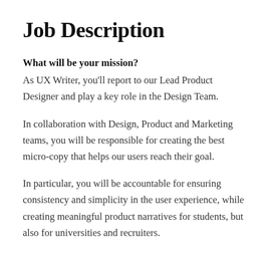Job Description
What will be your mission?
As UX Writer, you'll report to our Lead Product Designer and play a key role in the Design Team.
In collaboration with Design, Product and Marketing teams, you will be responsible for creating the best micro-copy that helps our users reach their goal.
In particular, you will be accountable for ensuring consistency and simplicity in the user experience, while creating meaningful product narratives for students, but also for universities and recruiters.